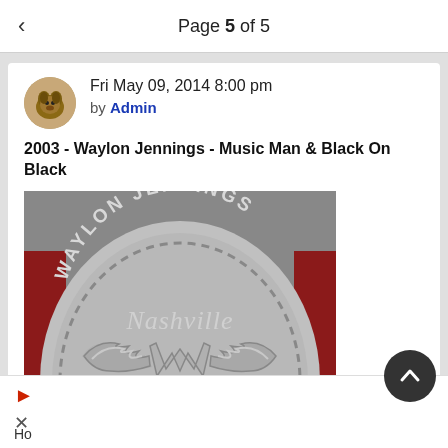Page 5 of 5
Fri May 09, 2014 8:00 pm by Admin
2003 - Waylon Jennings - Music Man & Black On Black
[Figure (photo): Silver embossed medal or album cover showing 'Waylon Jennings Nashville' text in arc at top with a winged 'W' logo below, red holders on sides]